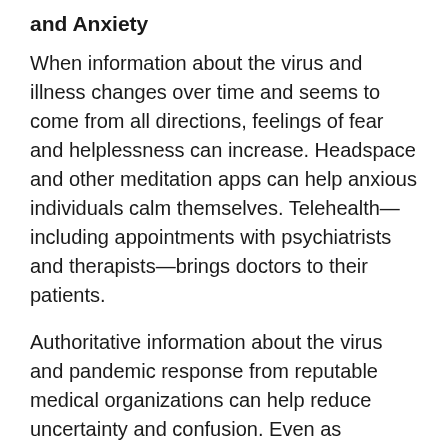and Anxiety
When information about the virus and illness changes over time and seems to come from all directions, feelings of fear and helplessness can increase. Headspace and other meditation apps can help anxious individuals calm themselves. Telehealth—including appointments with psychiatrists and therapists—brings doctors to their patients.
Authoritative information about the virus and pandemic response from reputable medical organizations can help reduce uncertainty and confusion. Even as vaccines serve as a light at the end of the tunnel, the chaos and uncertainty regarding immunization access and efficacy present significant psychological barriers.